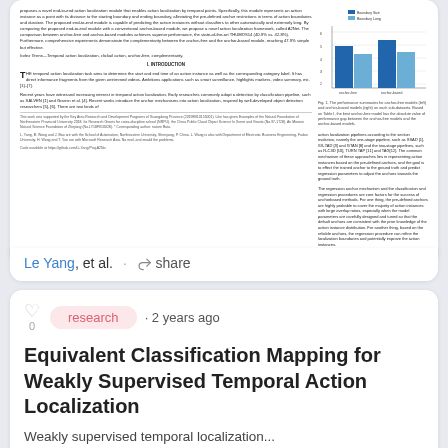[Figure (screenshot): Thumbnail preview of a scientific paper about temporal action localization with a bar chart showing performance metrics (Boundary Size vs Boundary Long) and dense academic text in two columns.]
Le Yang, et al. · share
research · 2 years ago
Equivalent Classification Mapping for Weakly Supervised Temporal Action Localization
Weakly supervised temporal localization...